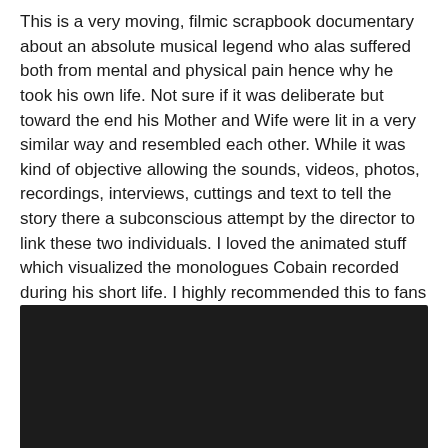This is a very moving, filmic scrapbook documentary about an absolute musical legend who alas suffered both from mental and physical pain hence why he took his own life. Not sure if it was deliberate but toward the end his Mother and Wife were lit in a very similar way and resembled each other. While it was kind of objective allowing the sounds, videos, photos, recordings, interviews, cuttings and text to tell the story there a subconscious attempt by the director to link these two individuals. I loved the animated stuff which visualized the monologues Cobain recorded during his short life. I highly recommended this to fans of the troubled rock-poet and of course his amazing music. (Mark: 8.5 out of 11)
[Figure (photo): Dark/black rectangle representing a video or image embed area with very dark background]